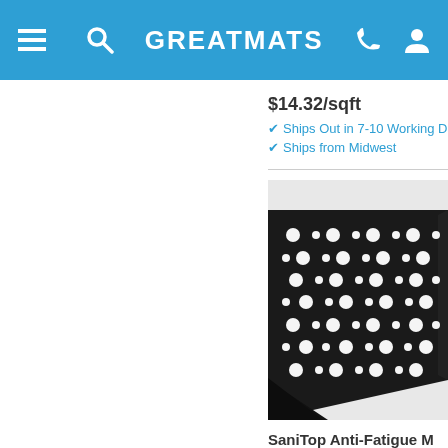GREATMATS
$14.32/sqft
Ships Out in 7-10 Working Da
Ships from Midwest
[Figure (photo): SaniTop Anti-Fatigue rubber mat with circular holes pattern, black, viewed from corner angle showing beveled edges]
SaniTop Anti-Fatigue M
3x10 ft Black